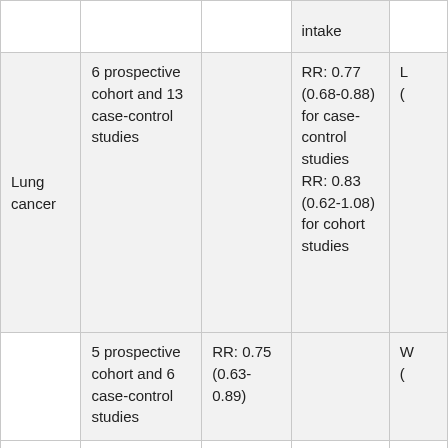|  |  |  | intake |  |
| Lung cancer | 6 prospective cohort and 13 case-control studies |  | RR: 0.77 (0.68-0.88) for case-control studies RR: 0.83 (0.62-1.08) for cohort studies | L ( |
|  | 5 prospective cohort and 6 case-control studies | RR: 0.75 (0.63-0.89) |  | W ( |
|  |  |  |  |  |